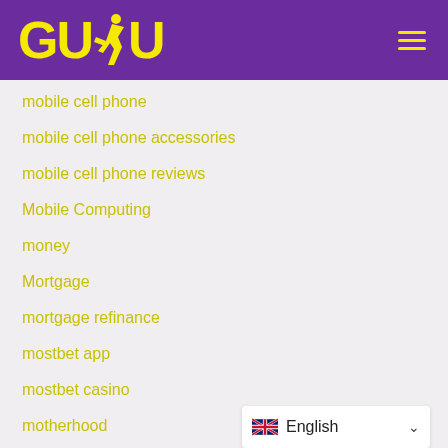[Figure (logo): GUDU logo with yellow text and running figure on purple background, with hamburger menu icon on right]
mobile cell phone
mobile cell phone accessories
mobile cell phone reviews
Mobile Computing
money
Mortgage
mortgage refinance
mostbet app
mostbet casino
motherhood
motivation
motorcycles
English